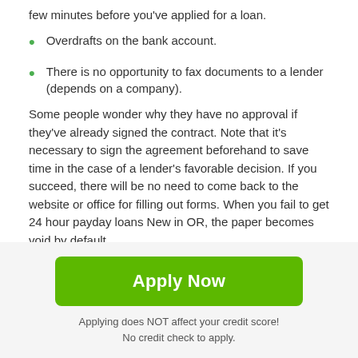few minutes before you've applied for a loan.
Overdrafts on the bank account.
There is no opportunity to fax documents to a lender (depends on a company).
Some people wonder why they have no approval if they've already signed the contract. Note that it's necessary to sign the agreement beforehand to save time in the case of a lender's favorable decision. If you succeed, there will be no need to come back to the website or office for filling out forms. When you fail to get 24 hour payday loans New in OR, the paper becomes void by default.
[Figure (other): Scroll-to-top button with upward arrow icon, dark grey rounded square]
Apply Now
Applying does NOT affect your credit score!
No credit check to apply.